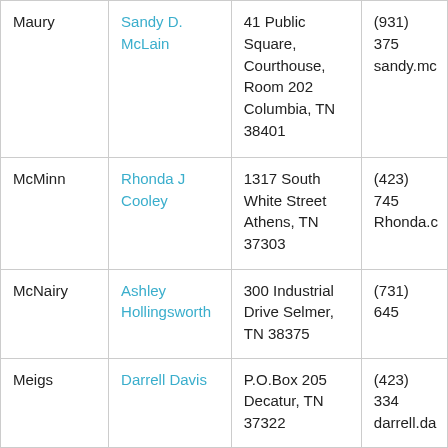| County | Name | Address | Phone/Email |
| --- | --- | --- | --- |
| Maury | Sandy D. McLain | 41 Public Square, Courthouse, Room 202 Columbia, TN 38401 | (931) 375... sandy.mc... |
| McMinn | Rhonda J Cooley | 1317 South White Street Athens, TN 37303 | (423) 745... Rhonda.c... |
| McNairy | Ashley Hollingsworth | 300 Industrial Drive Selmer, TN 38375 | (731) 645... |
| Meigs | Darrell Davis | P.O.Box 205 Decatur, TN 37322 | (423) 334... darrell.da... |